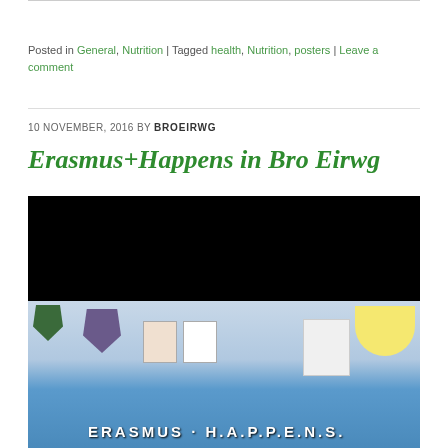Posted in General, Nutrition | Tagged health, Nutrition, posters | Leave a comment
10 NOVEMBER, 2016 BY BROEIRWG
Erasmus+Happens in Bro Eirwg
[Figure (photo): Classroom display board showing 'ERASMUS H.A.P.P.E.N.S.' banner with student work, shields, posters and decorations pinned to a blue background. The top portion of the image is black/dark.]